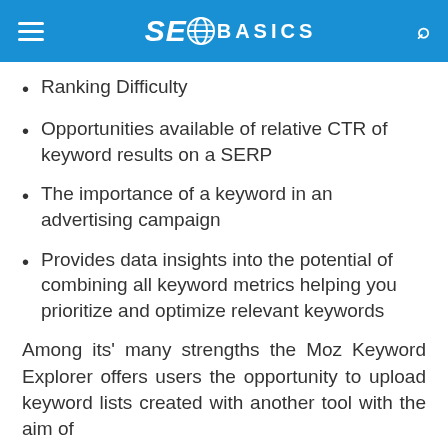SEO BASICS
Ranking Difficulty
Opportunities available of relative CTR of keyword results on a SERP
The importance of a keyword in an advertising campaign
Provides data insights into the potential of combining all keyword metrics helping you prioritize and optimize relevant keywords
Among its' many strengths the Moz Keyword Explorer offers users the opportunity to upload keyword lists created with another tool with the aim of